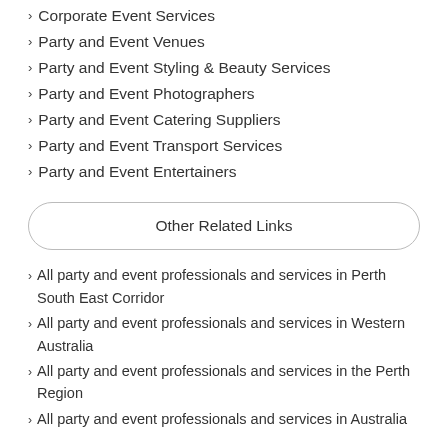Corporate Event Services
Party and Event Venues
Party and Event Styling & Beauty Services
Party and Event Photographers
Party and Event Catering Suppliers
Party and Event Transport Services
Party and Event Entertainers
Other Related Links
All party and event professionals and services in Perth South East Corridor
All party and event professionals and services in Western Australia
All party and event professionals and services in the Perth Region
All party and event professionals and services in Australia